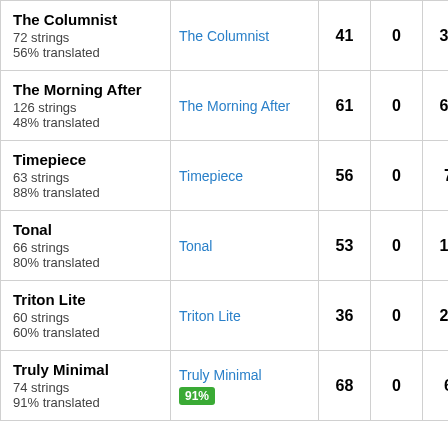|  |  |  |  |  |
| --- | --- | --- | --- | --- |
| The Columnist
72 strings
56% translated | The Columnist | 41 | 0 | 31 |
| The Morning After
126 strings
48% translated | The Morning After | 61 | 0 | 65 |
| Timepiece
63 strings
88% translated | Timepiece | 56 | 0 | 7 |
| Tonal
66 strings
80% translated | Tonal | 53 | 0 | 13 |
| Triton Lite
60 strings
60% translated | Triton Lite | 36 | 0 | 24 |
| Truly Minimal
74 strings
91% translated | Truly Minimal 91% | 68 | 0 | 6 |